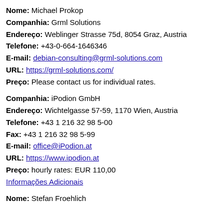Nome: Michael Prokop
Companhia: Grml Solutions
Endereço: Weblinger Strasse 75d, 8054 Graz, Austria
Telefone: +43-0-664-1646346
E-mail: debian-consulting@grml-solutions.com
URL: https://grml-solutions.com/
Preço: Please contact us for individual rates.
Companhia: iPodion GmbH
Endereço: Wichtelgasse 57-59, 1170 Wien, Austria
Telefone: +43 1 216 32 98 5-00
Fax: +43 1 216 32 98 5-99
E-mail: office@iPodion.at
URL: https://www.ipodion.at
Preço: hourly rates: EUR 110,00
Informações Adicionais
Nome: Stefan Froehlich